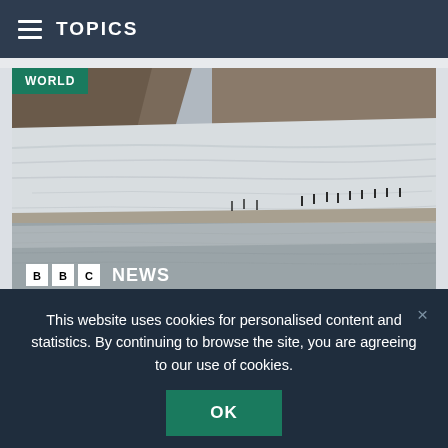TOPICS
[Figure (photo): Aerial or wide-angle photo of a glacier with rocky mountains in background. People visible on the glacier. A reflective glacial lake in the foreground mirrors the ice and rock. BBC NEWS logo watermark in bottom-left corner. WORLD badge in top-left corner.]
Melting glaciers: Germany's 'could disappear' in 15
This website uses cookies for personalised content and statistics. By continuing to browse the site, you are agreeing to our use of cookies.
OK